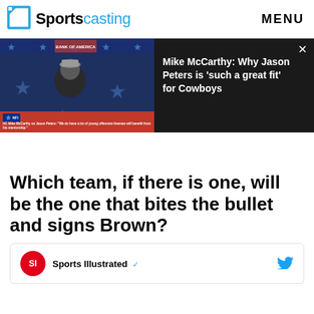Sportscasting | MENU
[Figure (screenshot): Video player showing Mike McCarthy press conference with Dallas Cowboys branding. Right panel on dark background shows title: Mike McCarthy: Why Jason Peters is 'such a great fit' for Cowboys]
Which team, if there is one, will be the one that bites the bullet and signs Brown?
Sports Illustrated (verified)